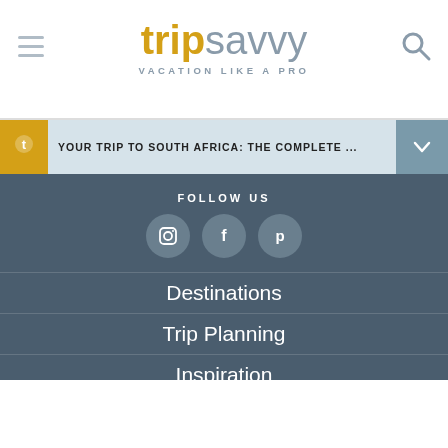[Figure (logo): TripSavvy logo with text 'trip' in gold/yellow bold and 'savvy' in blue-grey, tagline 'VACATION LIKE A PRO' below]
YOUR TRIP TO SOUTH AFRICA: THE COMPLETE ...
FOLLOW US
[Figure (illustration): Three social media icons in grey circles: Instagram, Facebook, Pinterest]
Destinations
Trip Planning
Inspiration
Outdoors